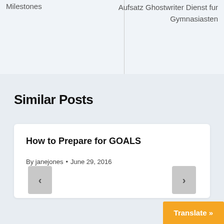Milestones
Aufsatz Ghostwriter Dienst fur Gymnasiasten
Similar Posts
How to Prepare for GOALS
By janejones • June 29, 2016
Translate »